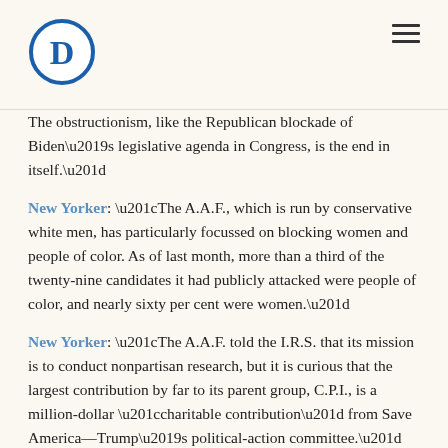DNC logo and navigation
The obstructionism, like the Republican blockade of Biden’s legislative agenda in Congress, is the end in itself.”
New Yorker: “The A.A.F., which is run by conservative white men, has particularly focussed on blocking women and people of color. As of last month, more than a third of the twenty-nine candidates it had publicly attacked were people of color, and nearly sixty per cent were women.”
New Yorker: “The A.A.F. told the I.R.S. that its mission is to conduct nonpartisan research, but it is curious that the largest contribution by far to its parent group, C.P.I., is a million-dollar “charitable contribution” from Save America—Trump’s political-action committee.”